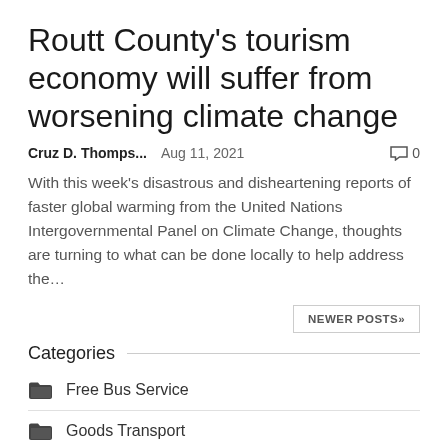Routt County's tourism economy will suffer from worsening climate change
Cruz D. Thomps...   Aug 11, 2021   0
With this week's disastrous and disheartening reports of faster global warming from the United Nations Intergovernmental Panel on Climate Change, thoughts are turning to what can be done locally to help address the...
NEWER POSTS»
Categories
Free Bus Service
Goods Transport
Public Transport